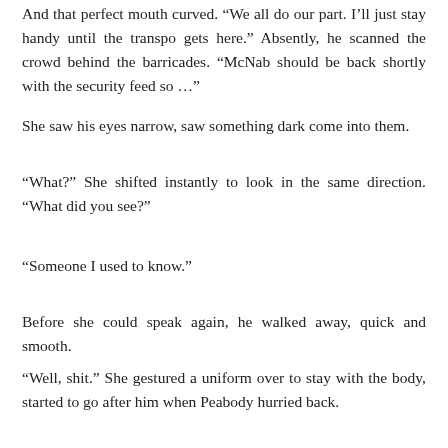And that perfect mouth curved. “We all do our part. I’ll just stay handy until the transpo gets here.” Absently, he scanned the crowd behind the barricades. “McNab should be back shortly with the security feed so …”
She saw his eyes narrow, saw something dark come into them.
“What?” She shifted instantly to look in the same direction. “What did you see?”
“Someone I used to know.”
Before she could speak again, he walked away, quick and smooth.
“Well, shit.” She gestured a uniform over to stay with the body, started to go after him when Peabody hurried back.